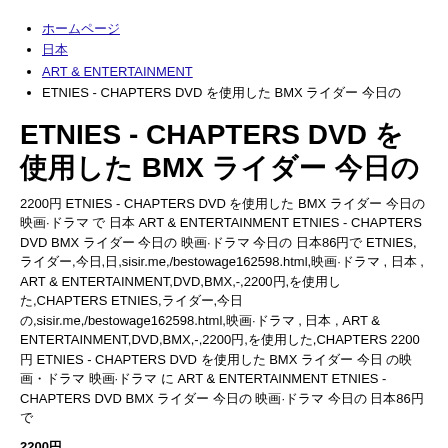ホームページ
日本
ART & ENTERTAINMENT
ETNIES - CHAPTERS DVD を使用した BMX ライダー 今日の
ETNIES - CHAPTERS DVD を使用した BMX ライダー 今日の
2200円 ETNIES - CHAPTERS DVD を使用した BMX ライダー 今日の 映画·ドラマ で 日本 ART & ENTERTAINMENT ETNIES - CHAPTERS DVD BMX ライダー 今日の 映画·ドラマ 今日の 日本86円で ETNIES,ライダー,今日,日,sisir.me,/bestowage162598.html,映画·ドラマ , 日本 , ART & ENTERTAINMENT,DVD,BMX,-,2200円,を使用した,CHAPTERS ETNIES,ライダー,今日の,sisir.me,/bestowage162598.html,映画·ドラマ , 日本 , ART & ENTERTAINMENT,DVD,BMX,-,2200円,を使用した,CHAPTERS 2200円 ETNIES - CHAPTERS DVD を使用した BMX ライダー 今日 の映画・ドラマ 映画·ドラマ に ART & ENTERTAINMENT ETNIES - CHAPTERS DVD BMX ライダー 今日の 映画·ドラマ 今日の 日本86円で
2200円